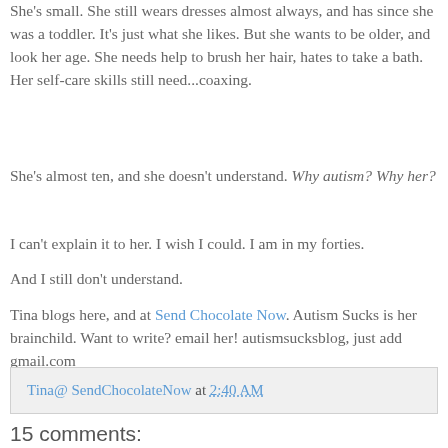She's small. She still wears dresses almost always, and has since she was a toddler. It's just what she likes. But she wants to be older, and look her age. She needs help to brush her hair, hates to take a bath. Her self-care skills still need...coaxing.
She's almost ten, and she doesn't understand. Why autism? Why her?
I can't explain it to her. I wish I could. I am in my forties.
And I still don't understand.
Tina blogs here, and at Send Chocolate Now. Autism Sucks is her brainchild. Want to write? email her! autismsucksblog, just add gmail.com
Tina@ SendChocolateNow at 2:40 AM
15 comments: